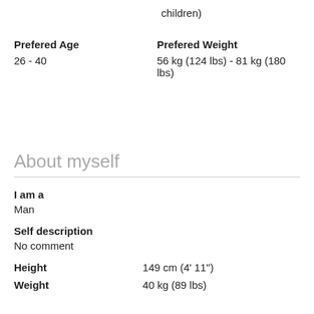children)
Prefered Age
Prefered Weight
26 - 40
56 kg (124 lbs) - 81 kg (180 lbs)
About myself
I am a
Man
Self description
No comment
Height
149 cm (4' 11'')
Weight
40 kg (89 lbs)